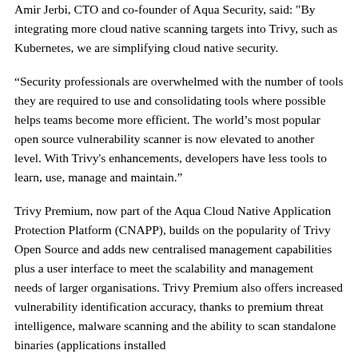Amir Jerbi, CTO and co-founder of Aqua Security, said: "By integrating more cloud native scanning targets into Trivy, such as Kubernetes, we are simplifying cloud native security.
“Security professionals are overwhelmed with the number of tools they are required to use and consolidating tools where possible helps teams become more efficient. The world’s most popular open source vulnerability scanner is now elevated to another level. With Trivy's enhancements, developers have less tools to learn, use, manage and maintain.”
Trivy Premium, now part of the Aqua Cloud Native Application Protection Platform (CNAPP), builds on the popularity of Trivy Open Source and adds new centralised management capabilities plus a user interface to meet the scalability and management needs of larger organisations. Trivy Premium also offers increased vulnerability identification accuracy, thanks to premium threat intelligence, malware scanning and the ability to scan standalone binaries (applications installed